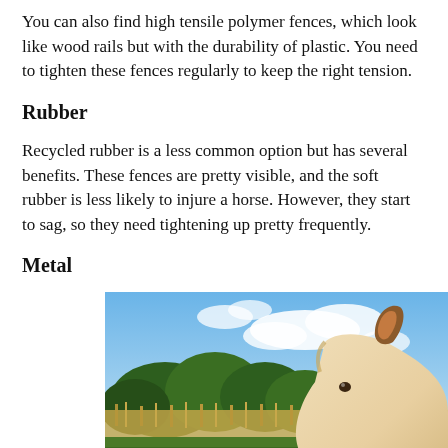You can also find high tensile polymer fences, which look like wood rails but with the durability of plastic. You need to tighten these fences regularly to keep the right tension.
Rubber
Recycled rubber is a less common option but has several benefits. These fences are pretty visible, and the soft rubber is less likely to injure a horse. However, they start to sag, so they need tightening up pretty frequently.
Metal
[Figure (photo): Close-up photo of a light-colored horse's head from behind, with one brown ear visible, looking out over a field with green trees and golden grass, with a blue sky and white clouds in the background.]